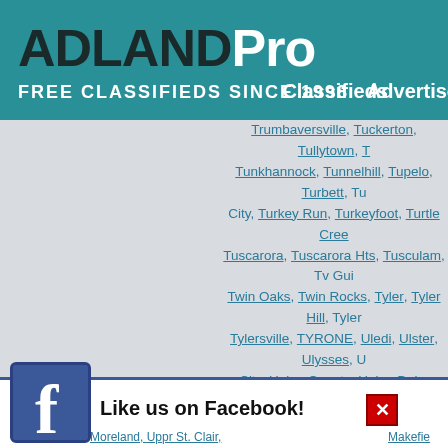ADLANDPro FREE CLASSIFIEDS SINCE 1998 | Classifieds | Advertise
My Links
Trumbaversville, Tuckerton, Tullytown, Tunkhannock, Tunnelhill, Tupelo, Turbett, City, Turkey Run, Turkeyfoot, Turtle Creek, Tuscarora, Tuscarora Hts, Tusculam, Tv Guide, Twin Oaks, Twin Rocks, Tyler, Tyler Hill, Tyler, Tylersville, TYRONE, Uledi, Ulster, Ulysses, City, Union County, Union Dale, Union Depot, Busi Reply, Union Fidelity Postage Pd, Union, Uniontown, Uniontown--Connellsville, Unionville, Unity House, Unityville, Univ Of Pittsburgh, City, University Park, University Pk, Unoinville, Allen, Upper Augusta, Upper Bern, Upper Bl, Burell, Upper Chichester, Upper Darby, Upper, Upper Dublin, Upper Exeter, Upper Fairfld, Upper, Gwynedd, Upper Holland, Upper Lawn, Upper, Mahantongo, Upper Makefield, Upper Mako, Upper Merion, Upper Mifflin, Upper Mill, Upper, Paxton, Upper Providence, Upper Providence, Saint Clai, Upper Saint Clair, Upper St Clair, Upper St. Clair, Upper Strasbg, Upper, Upperstrasburg, Upperstrasburg, Uppr Blck E, Moreland, Uppr St. Clair, Makefield
[Figure (logo): Facebook logo icon with 'Like us on Facebook!' button]
Like us on Facebook!